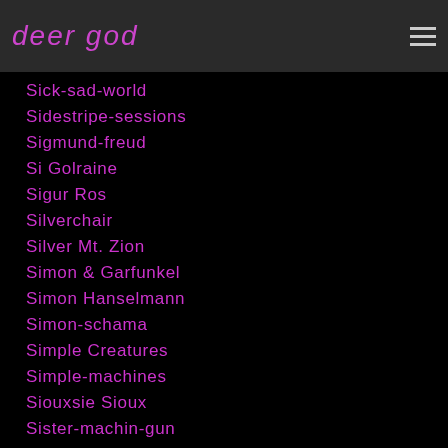deer god
Sick-sad-world
Sidestripe-sessions
Sigmund-freud
Si Golraine
Sigur Ros
Silverchair
Silver Mt. Zion
Simon & Garfunkel
Simon Hanselmann
Simon-schama
Simple Creatures
Simple-machines
Siouxsie Sioux
Sister-machin-gun
Ska
Skateboarding
Ski-mask-the-slump-god